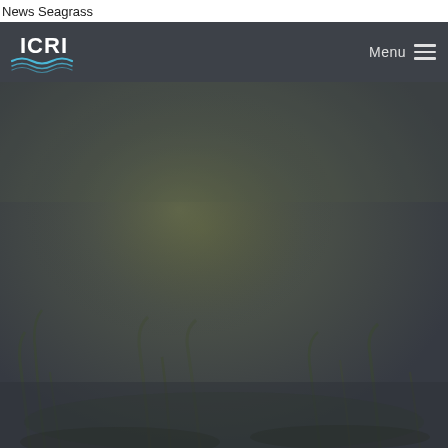News Seagrass
[Figure (logo): ICRI logo with wave design in white and blue on dark background]
Menu
[Figure (photo): Underwater seagrass photograph, dark greenish-blue tones showing seagrass meadow on ocean floor]